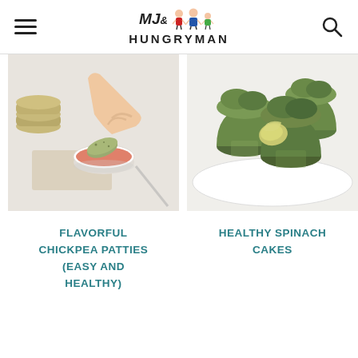MJ & HUNGRYMAN
[Figure (photo): Child's hand dipping a chickpea patty into a small white bowl of orange dipping sauce, with stacked patties in the background]
[Figure (photo): Green spinach cakes/muffins on a white plate, one with a bite taken out showing the green interior]
FLAVORFUL CHICKPEA PATTIES (EASY AND HEALTHY)
HEALTHY SPINACH CAKES